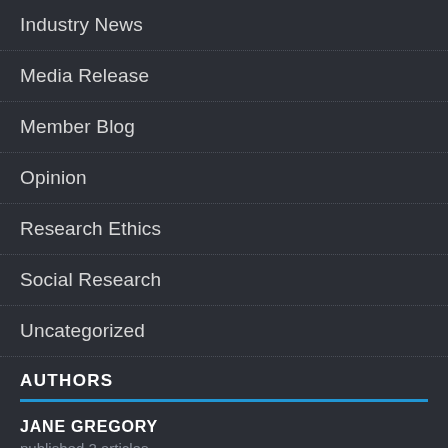Industry News
Media Release
Member Blog
Opinion
Research Ethics
Social Research
Uncategorized
AUTHORS
JANE GREGORY
published 2 articles
SUPERSEARCHER IRG BLOG
published 0 articles